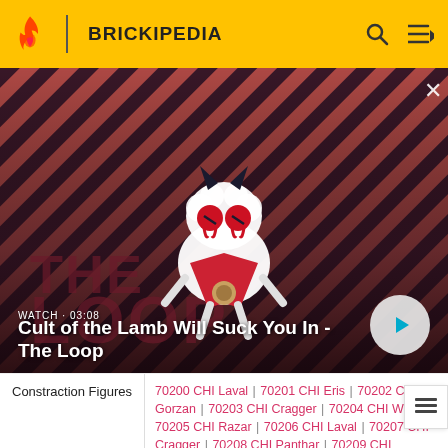BRICKIPEDIA
[Figure (screenshot): Video thumbnail for 'Cult of the Lamb Will Suck You In - The Loop' showing an animated lamb character with dark red eyes against a red and dark striped background. Shows WATCH · 03:08 label and a play button.]
| Category | Links |
| --- | --- |
| Constraction Figures | 70200 CHI Laval | 70201 CHI Eris | 70202 CHI Gorzan | 70203 CHI Cragger | 70204 CHI Worriz | 70205 CHI Razar | 70206 CHI Laval | 70207 CHI Cragger | 70208 CHI Panthar | 70209 CHI Mungus | 70210 CHI Vardy | 70211 CHI … |